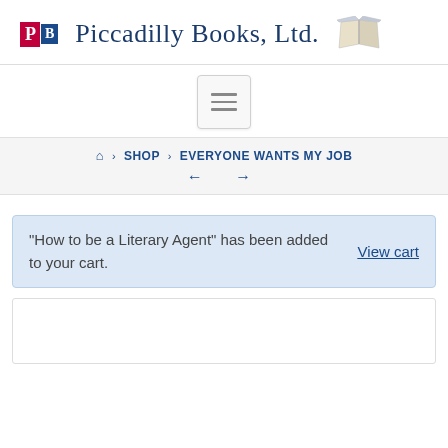Piccadilly Books, Ltd.
[Figure (screenshot): Hamburger menu button with three horizontal lines]
🏠 › SHOP › EVERYONE WANTS MY JOB ← →
"How to be a Literary Agent" has been added to your cart.
View cart